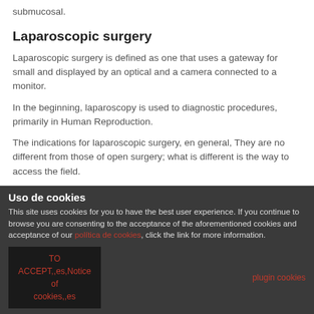submucosal.
Laparoscopic surgery
Laparoscopic surgery is defined as one that uses a gateway for small and displayed by an optical and a camera connected to a monitor.
In the beginning, laparoscopy is used to diagnostic procedures, primarily in Human Reproduction.
The indications for laparoscopic surgery, en general, They are no different from those of open surgery; what is different is the way to access the field.
Uso de cookies
This site uses cookies for you to have the best user experience. If you continue to browse you are consenting to the acceptance of the aforementioned cookies and acceptance of our política de cookies, click the link for more information.
TO ACCEPT,,es,Notice of cookies,,es
plugin cookies